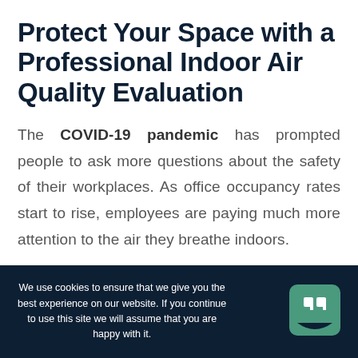Protect Your Space with a Professional Indoor Air Quality Evaluation
The COVID-19 pandemic has prompted people to ask more questions about the safety of their workplaces. As office occupancy rates start to rise, employees are paying much more attention to the air they breathe indoors.
We use cookies to ensure that we give you the best experience on our website. If you continue to use this site we will assume that you are happy with it.